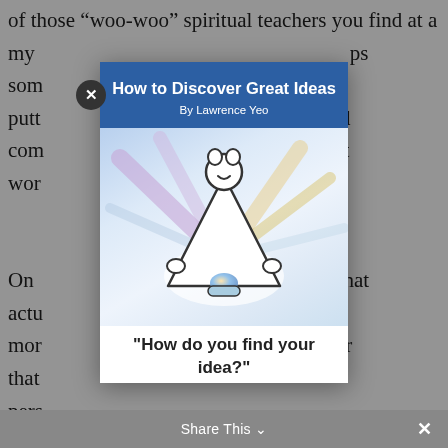of those “woo-woo” spiritual teachers you find at a my [close] t/f d li fi d ps som putt und com nt wor
On hat actu a mor yer that pers peo
[Figure (illustration): Modal popup over a webpage. The modal shows a book cover titled 'How to Discover Great Ideas By Lawrence Yeo' with a blue header and an illustration of a white triangle-shaped figure with a smiling face and hands, radiating colorful light rays on a light blue background. Below is a quote beginning: "How do you find your idea?"]
Sop t use i spo uity
Share This ×